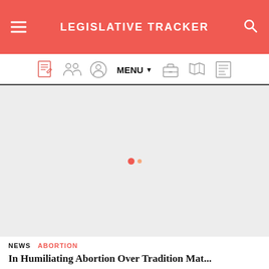LEGISLATIVE TRACKER
[Figure (infographic): Navigation bar with icons: bill/document icon, people/legislators icon, committee icon, MENU dropdown, briefcase icon, US map icon, list/tracker icon]
[Figure (infographic): Loading spinner with two orange/red dots on gray background content area]
NEWS   ABORTION
In Humiliating Abortion Over Tradition Mat...